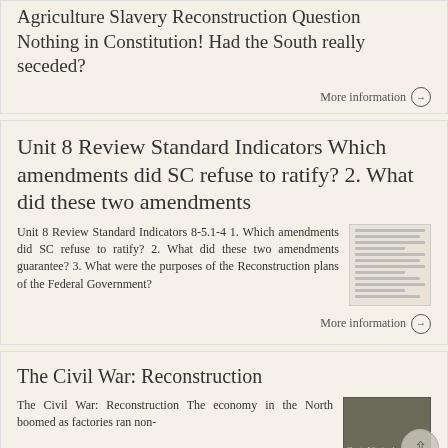Agriculture Slavery Reconstruction Question Nothing in Constitution! Had the South really seceded?
More information →
Unit 8 Review Standard Indicators Which amendments did SC refuse to ratify? 2. What did these two amendments
Unit 8 Review Standard Indicators 8-5.1-4 1. Which amendments did SC refuse to ratify? 2. What did these two amendments guarantee? 3. What were the purposes of the Reconstruction plans of the Federal Government?
[Figure (screenshot): Thumbnail image of a document with horizontal lines of text]
More information →
The Civil War: Reconstruction
The Civil War: Reconstruction The economy in the North boomed as factories ran non-
[Figure (photo): Dark olive/brown colored book or document cover with small text]